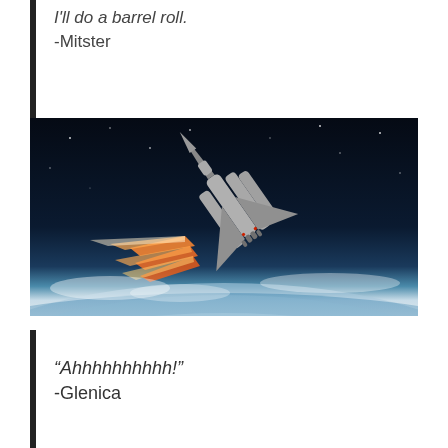I'll do a barrel roll!
-Mitster
[Figure (illustration): A spacecraft or space plane flying above Earth's atmosphere with rocket engine exhaust trails, against a dark space background with Earth's curved horizon visible below.]
“Ahhhhhhhhhh!”
-Glenica